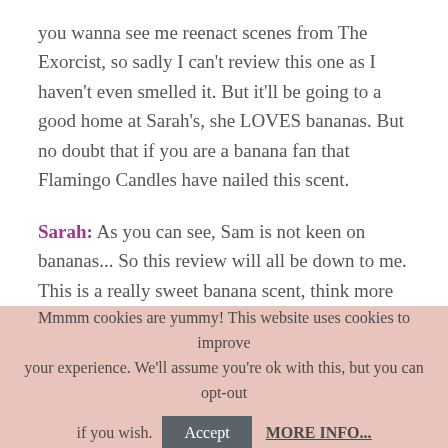you wanna see me reenact scenes from The Exorcist, so sadly I can't review this one as I haven't even smelled it. But it'll be going to a good home at Sarah's, she LOVES bananas. But no doubt that if you are a banana fan that Flamingo Candles have nailed this scent.
Sarah: As you can see, Sam is not keen on bananas... So this review will all be down to me. This is a really sweet banana scent, think more like the banana sweets you get in a pic n mix. It's a really fun scent that's been loved by everyone at home.
...
Mmmm cookies are yummy! This website uses cookies to improve your experience. We'll assume you're ok with this, but you can opt-out if you wish. Accept MORE INFO...